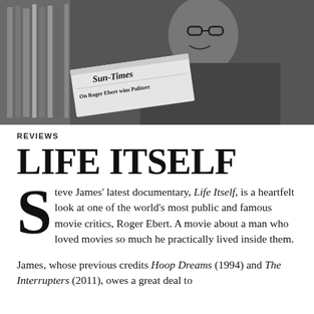[Figure (photo): Black and white photo of Roger Ebert smiling, holding a Chicago Sun-Times newspaper with the headline 'On Roger Ebert wins Pulitzer', with bookshelves in the background.]
REVIEWS
LIFE ITSELF
Steve James' latest documentary, Life Itself, is a heartfelt look at one of the world's most public and famous movie critics, Roger Ebert. A movie about a man who loved movies so much he practically lived inside them.
James, whose previous credits Hoop Dreams (1994) and The Interrupters (2011), owes a great deal to